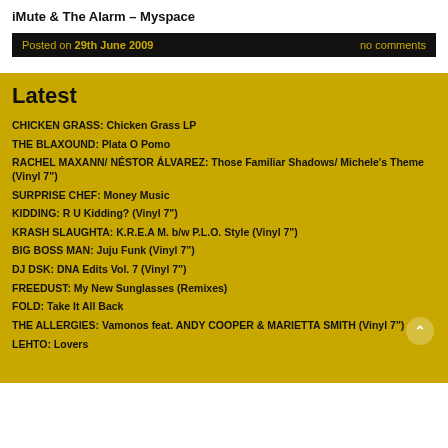iMute & The Alarm – Myspace
Posted on 29th June 2009    no comments
Latest
CHICKEN GRASS: Chicken Grass LP
THE BLAXOUND: Plata O Pomo
RACHEL MAXANN/ NÉSTOR ÁLVAREZ: Those Familiar Shadows/ Michele's Theme (Vinyl 7")
SURPRISE CHEF: Money Music
KIDDING: R U Kidding? (Vinyl 7")
KRASH SLAUGHTA: K.R.E.A M. b/w P.L.O. Style (Vinyl 7")
BIG BOSS MAN: Juju Funk (Vinyl 7")
DJ DSK: DNA Edits Vol. 7 (Vinyl 7")
FREEDUST: My New Sunglasses (Remixes)
FOLD: Take It All Back
THE ALLERGIES: Vamonos feat. ANDY COOPER & MARIETTA SMITH (Vinyl 7")
LEHTO: Lovers